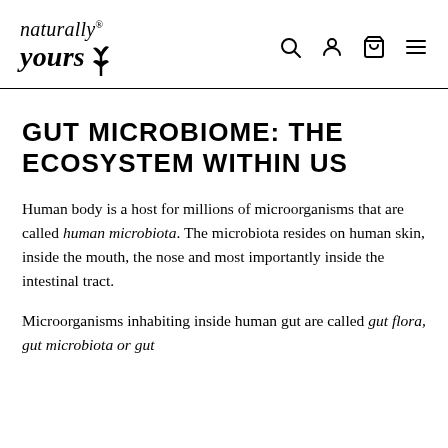naturally yours® [logo with navigation icons: search, user, cart, menu]
GUT MICROBIOME: THE ECOSYSTEM WITHIN US
Human body is a host for millions of microorganisms that are called human microbiota. The microbiota resides on human skin, inside the mouth, the nose and most importantly inside the intestinal tract.
Microorganisms inhabiting inside human gut are called gut flora, gut microbiota or gut